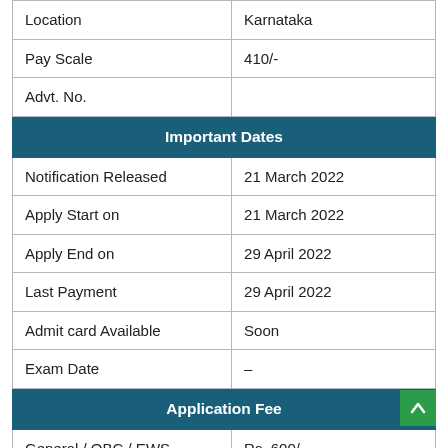| Field | Value |
| --- | --- |
| Location | Karnataka |
| Pay Scale | 410/- |
| Advt. No. |  |
| Important Dates |  |
| Notification Released | 21 March 2022 |
| Apply Start on | 21 March 2022 |
| Apply End on | 29 April 2022 |
| Last Payment | 29 April 2022 |
| Admit card Available | Soon |
| Exam Date | – |
| Application Fee |  |
| General / OBC / EWS | Rs. 600/- |
| SC / ST / Female | Rs. 300/- |
| Payment Method | Cards & net Banking |